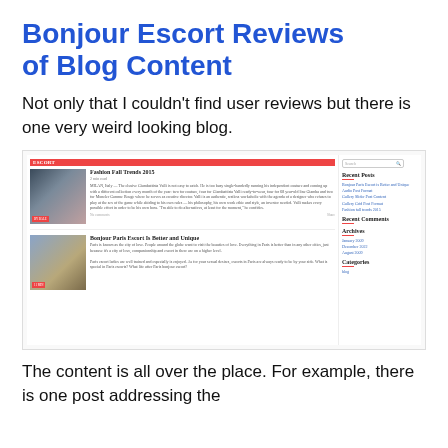Bonjour Escort Reviews of Blog Content
Not only that I couldn't find user reviews but there is one very weird looking blog.
[Figure (screenshot): Screenshot of a blog page showing two posts: 'Fashion Fall Trends 2015' with a model photo and 'Bonjour Paris Escort Is Better and Unique' with a Paris cityscape, plus a sidebar with Recent Posts, Recent Comments, Archives, and Categories sections.]
The content is all over the place. For example, there is one post addressing the